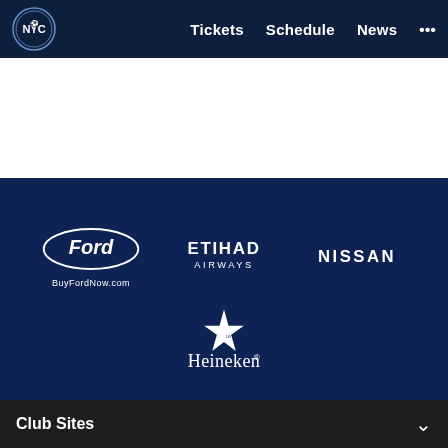[Figure (logo): NYCFC navigation bar with club logo and nav links: Tickets, Schedule, News, and more (...)]
[Figure (logo): Ford / BuyFordNow.com sponsor logo in white on dark blue background]
[Figure (logo): Etihad Airways sponsor logo in white on dark blue background]
[Figure (logo): Nissan sponsor logo in white on dark blue background]
[Figure (logo): Heineken sponsor logo with star in white on dark blue background]
Club Sites